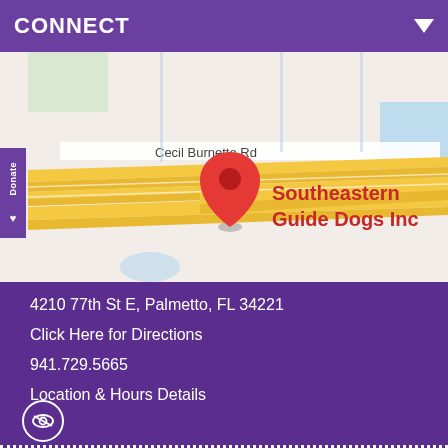CONNECT
[Figure (map): Google Maps showing location of Southeastern Guide Dogs Inc at 4210 77th St E, Palmetto, FL 34221. Map shows Cecil Burnette Rd, major yellow highways intersecting, and a red location pin labeled 'Southeastern Guide Dogs Inc'.]
4210 77th St E, Palmetto, FL 34221
Click Here for Directions
941.729.5665
Location & Hours Details